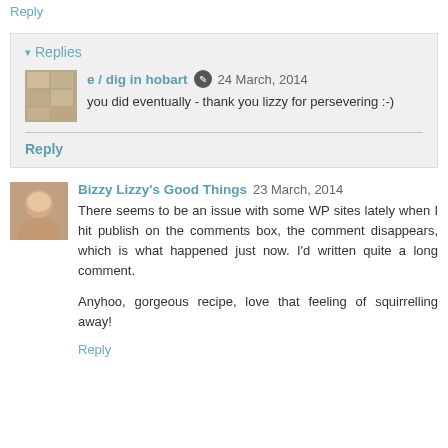Reply
Replies
e / dig in hobart  24 March, 2014
you did eventually - thank you lizzy for persevering :-)
Reply
Bizzy Lizzy's Good Things  23 March, 2014
There seems to be an issue with some WP sites lately when I hit publish on the comments box, the comment disappears, which is what happened just now. I'd written quite a long comment.

Anyhoo, gorgeous recipe, love that feeling of squirrelling away!
Reply